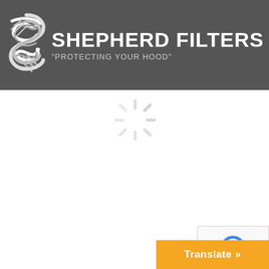[Figure (logo): Shepherd Filters logo with stylized S icon and text 'SHEPHERD FILTERS' and tagline 'PROTECTING YOUR HOOD' on dark grey header bar with hamburger menu icon]
[Figure (other): Loading spinner (spinning wheel animation) centered in white content area below the header]
[Figure (other): reCAPTCHA badge in bottom-right corner with circular arrow icon]
Translate »